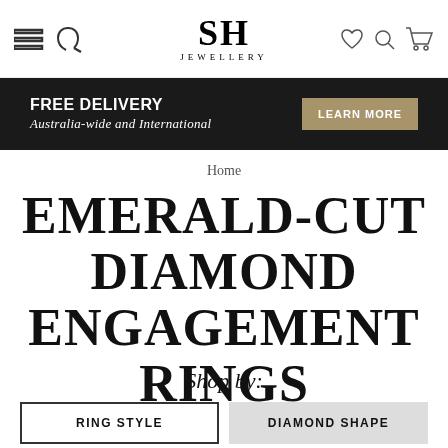SH JEWELLERY
FREE DELIVERY - Australia-wide and International - LEARN MORE
Home
EMERALD-CUT DIAMOND ENGAGEMENT RINGS
Shop by:
RING STYLE
DIAMOND SHAPE